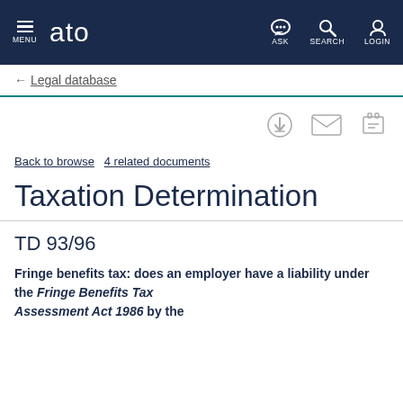ato — MENU | ASK | SEARCH | LOGIN
← Legal database
Back to browse   4 related documents
Taxation Determination
TD 93/96
Fringe benefits tax: does an employer have a liability under the Fringe Benefits Tax Assessment Act 1986 by the...